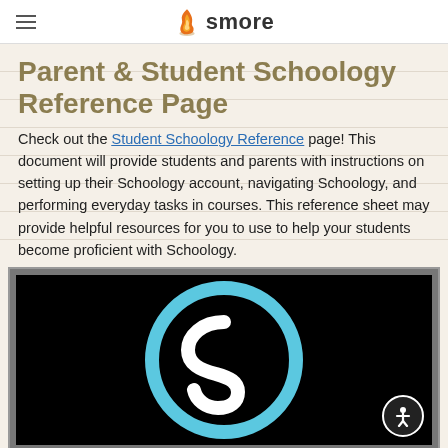smore
Parent & Student Schoology Reference Page
Check out the Student Schoology Reference page! This document will provide students and parents with instructions on setting up their Schoology account, navigating Schoology, and performing everyday tasks in courses. This reference sheet may provide helpful resources for you to use to help your students become proficient with Schoology.
[Figure (screenshot): Screenshot of a Schoology interface showing the Schoology logo (light blue circular S logo) on a dark/black background, with a gray border frame around the image. An accessibility button appears in the bottom right corner.]